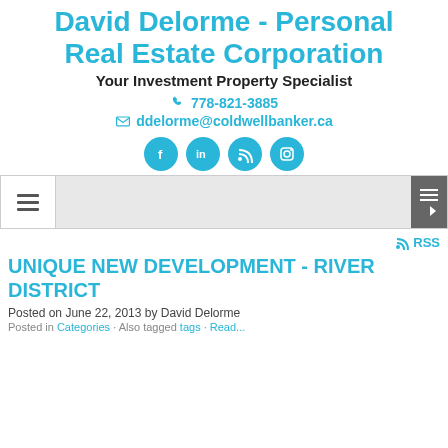David Delorme - Personal Real Estate Corporation
Your Investment Property Specialist
778-821-3885
ddelorme@coldwellbanker.ca
[Figure (other): Social media icons: Facebook, LinkedIn, RSS, Instagram]
[Figure (other): Navigation bar with hamburger menu button and sidebar toggle]
RSS
UNIQUE NEW DEVELOPMENT - RIVER DISTRICT
Posted on June 22, 2013 by David Delorme